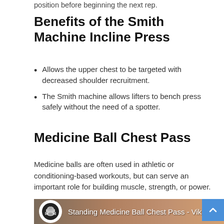position before beginning the next rep.
Benefits of the Smith Machine Incline Press
Allows the upper chest to be targeted with decreased shoulder recruitment.
The Smith machine allows lifters to bench press safely without the need of a spotter.
Medicine Ball Chest Pass
Medicine balls are often used in athletic or conditioning-based workouts, but can serve an important role for building muscle, strength, or power.
[Figure (screenshot): Video thumbnail showing 'Standing Medicine Ball Chest Pass - Vikin' with a Viking helmet logo and a gym background]